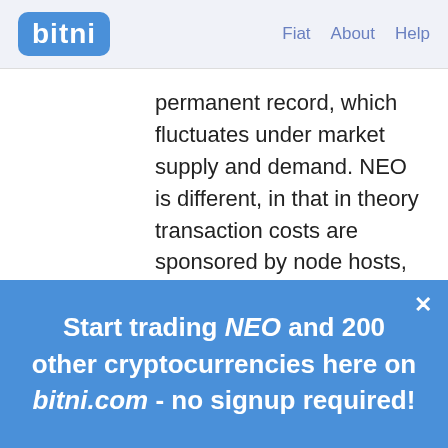bitni | Fiat  About  Help
permanent record, which fluctuates under market supply and demand. NEO is different, in that in theory transaction costs are sponsored by node hosts, and thus would be completely
Start trading NEO and 200 other cryptocurrencies here on bitni.com - no signup required!